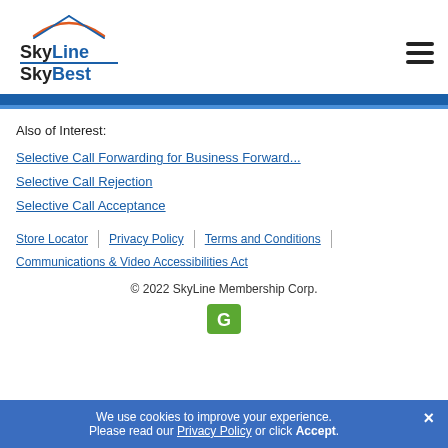[Figure (logo): SkyLine SkyBest company logo with stylized arc and lines above text]
Also of Interest:
Selective Call Forwarding for Business Forward...
Selective Call Rejection
Selective Call Acceptance
Store Locator | Privacy Policy | Terms and Conditions | Communications & Video Accessibilities Act
© 2022 SkyLine Membership Corp.
We use cookies to improve your experience. Please read our Privacy Policy or click Accept.